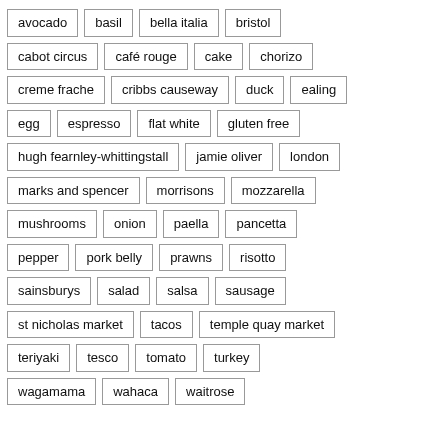avocado
basil
bella italia
bristol
cabot circus
café rouge
cake
chorizo
creme frache
cribbs causeway
duck
ealing
egg
espresso
flat white
gluten free
hugh fearnley-whittingstall
jamie oliver
london
marks and spencer
morrisons
mozzarella
mushrooms
onion
paella
pancetta
pepper
pork belly
prawns
risotto
sainsburys
salad
salsa
sausage
st nicholas market
tacos
temple quay market
teriyaki
tesco
tomato
turkey
wagamama
wahaca
waitrose